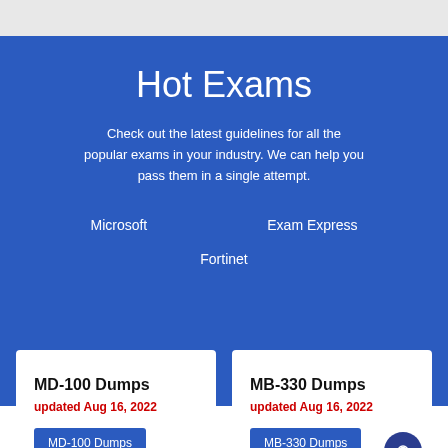Hot Exams
Check out the latest guidelines for all the popular exams in your industry. We can help you pass them in a single attempt.
Microsoft
Exam Express
Fortinet
MD-100 Dumps
updated Aug 16, 2022
MD-100 Dumps
MB-330 Dumps
updated Aug 16, 2022
MB-330 Dumps